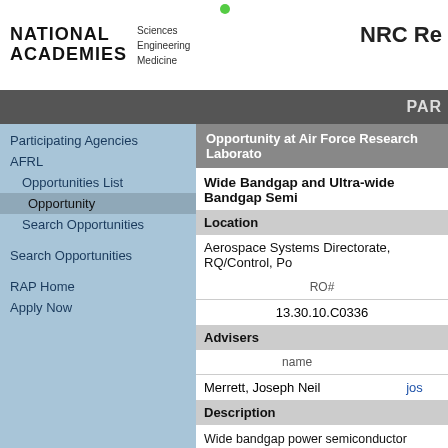NATIONAL ACADEMIES Sciences Engineering Medicine | NRC Re...
Par...
Participating Agencies
AFRL
Opportunities List
Opportunity
Search Opportunities
Search Opportunities
RAP Home
Apply Now
Opportunity at Air Force Research Laborato...
Wide Bandgap and Ultra-wide Bandgap Semi...
Location
Aerospace Systems Directorate, RQ/Control, Po...
| RO# |
| --- |
| 13.30.10.C0336 |
Advisers
| name |  |
| --- | --- |
| Merrett, Joseph Neil | jos... |
Description
Wide bandgap power semiconductor devices ha... bandgap is accompanied by a higher maximum density, and less switching losses. Overall, these semiconductors have the potential to push these predicted critical field strength of 8 MV/cm. Galli... quality substrates are predicted in the relatively n... devices. Gallium oxide does have some disadva...